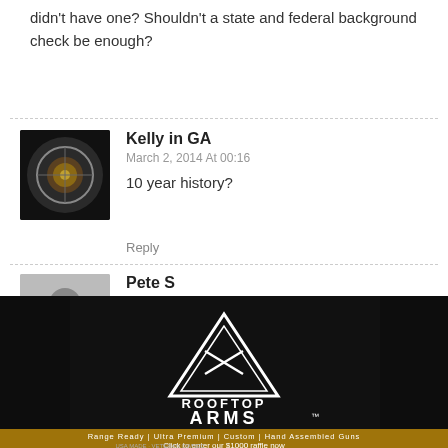didn't have one? Shouldn't a state and federal background check be enough?
Kelly in GA
March 2, 2014 At 00:16
10 year history?
Reply
Pete S
March 2, 2014 At 10:10
You have to list your residency for the past 10 years when you apply. They verify that information, and any LE agency in those locations is given the opportunity to object.
[Figure (photo): Rooftop Arms advertisement banner showing firearms and logo with text: Range Ready | Ultra Premium | Custom | Hand Assembled Guns, Click to enter our $1000 raffle now, USA MADE - VETERAN OWNED]